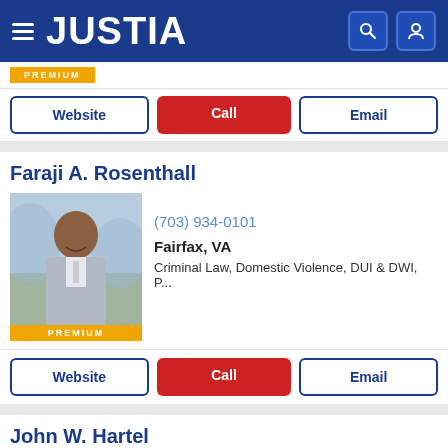JUSTIA
[Figure (screenshot): Justia premium attorney badge (partial, top of page)]
Website | Call | Email buttons
Faraji A. Rosenthall
[Figure (photo): Professional headshot of Faraji A. Rosenthall, smiling man in grey suit, outdoor background, PREMIUM badge at bottom]
(703) 934-0101
Fairfax, VA
Criminal Law, Domestic Violence, DUI & DWI, P...
Website | Call | Email buttons
John W. Hartel
[Figure (photo): Professional headshot of John W. Hartel, serious man in dark suit and tie against dark background]
(443) 749-5111
Hanover, MD